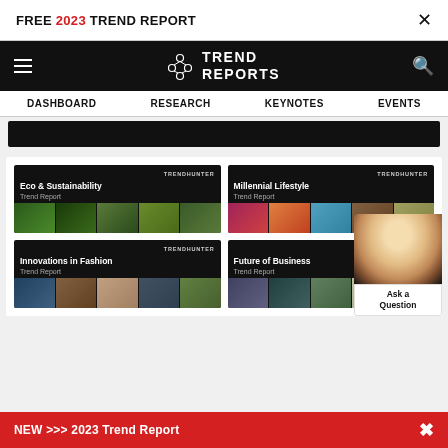FREE 2023 TREND REPORT ×
[Figure (screenshot): Trend Reports website navigation bar with hamburger menu, logo, and search icon on black background]
DASHBOARD  RESEARCH  KEYNOTES  EVENTS
[Figure (screenshot): Black banner strip with partially visible text]
[Figure (screenshot): Grid of four Trendhunter trend report cards: Eco & Sustainability Trend Report, Millennial Lifestyle Trend Report, Innovations in Fashion Trend Report, Future of Business Trend Report. A chat widget with a blonde woman photo is overlaid with 'Ask a Question' text.]
NEW >>> 2023 Trend Report  ×